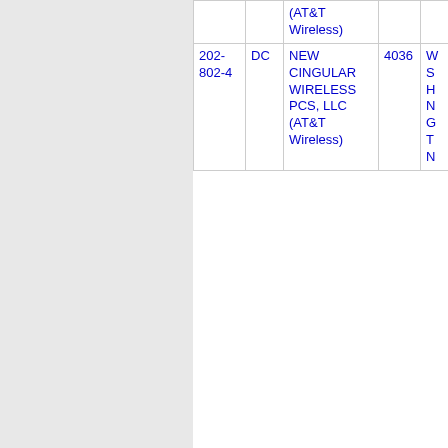|  |  | (AT&T Wireless) |  |  |
| 202-802-4 | DC | NEW CINGULAR WIRELESS PCS, LLC (AT&T Wireless) | 4036 | WSHNGTN |